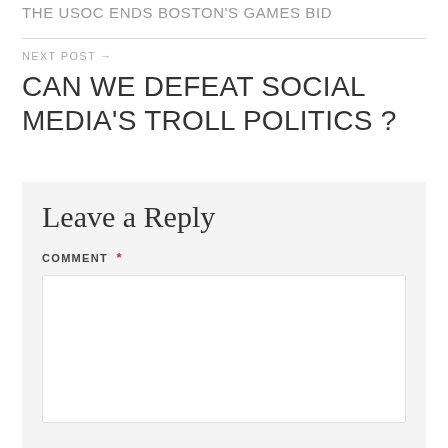THE USOC ENDS BOSTON'S GAMES BID
NEXT POST →
CAN WE DEFEAT SOCIAL MEDIA'S TROLL POLITICS ?
Leave a Reply
COMMENT *